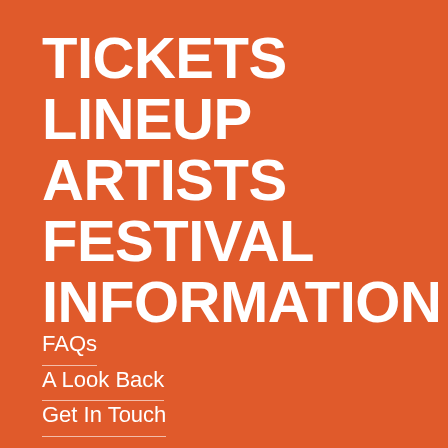TICKETS
LINEUP
ARTISTS
FESTIVAL INFORMATION
FAQs
A Look Back
Get In Touch
Partners
Place Fast Genre